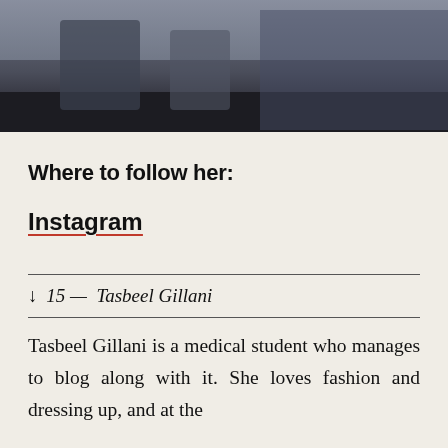[Figure (photo): Partial photo of a person sitting on a bench outdoors, cropped at the top of the page. Dark tones, urban setting.]
Where to follow her:
Instagram
↓ 15 — Tasbeel Gillani
Tasbeel Gillani is a medical student who manages to blog along with it. She loves fashion and dressing up, and at the